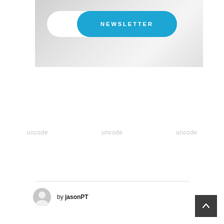[Figure (screenshot): Newsletter banner image with a pill-shaped toggle button. Left half of pill is white, right half is a blue rounded rectangle with white text 'NEWSLETTER'. Background is a light grey gradient.]
[Figure (logo): Three 'uncode' logos in grey text arranged horizontally across the page.]
by jasonPT
[Figure (other): Dark square back-to-top button with an upward-pointing chevron arrow in white.]